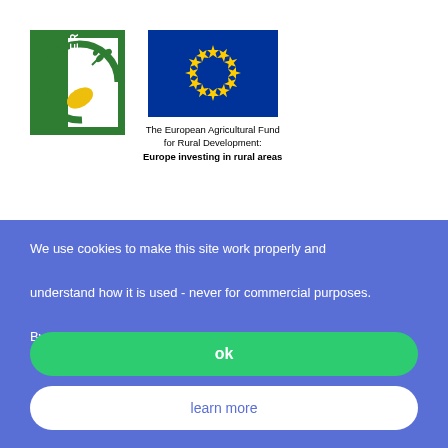[Figure (logo): LEADER programme logo - green square with circular leaf/plant design and LEADER text vertically on left side]
[Figure (logo): European Union flag - blue rectangle with circle of 12 yellow stars]
The European Agricultural Fund for Rural Development: Europe investing in rural areas
We use cookies to make this site work properly and understand how it is used - never for commercial purposes. By using the site you agree to our use of cookies.
ok
learn more